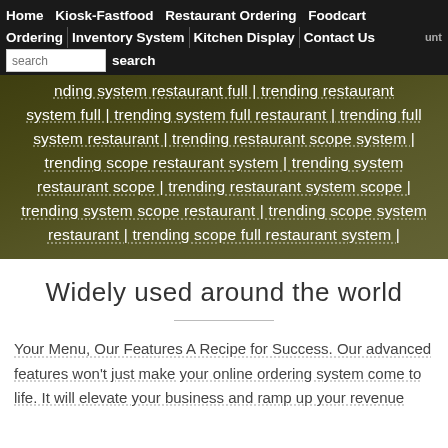Home  Kiosk-Fastfood  Restaurant Ordering  Foodcart Ordering  Inventory System  Kitchen Display  Contact Us
trending system restaurant full | trending restaurant system full | trending system full restaurant | trending full system restaurant | trending restaurant scope system | trending scope restaurant system | trending system restaurant scope | trending restaurant system scope | trending system scope restaurant | trending scope system restaurant | trending scope full restaurant system |
Widely used around the world
Your Menu, Our Features A Recipe for Success. Our advanced features won't just make your online ordering system come to life. It will elevate your business and ramp up your revenue